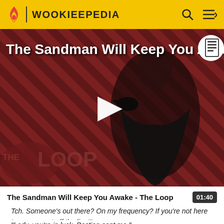WOOKIEEPEDIA
[Figure (screenshot): Video thumbnail showing a dark-robed figure against a diagonal striped red/dark background with 'THE LOOP' logo overlay and a play button in the center. Title overlay reads 'The Sandman Will Keep You Awake.']
The Sandman Will Keep You Awake - The Loop
Tch. Someone's out there? On my frequency? If you're not here to rescue, get off the line!
"Lady, you're in luck. Bastion sent me."
"Excellent! Check to action! Plug in frequency. Reload..."